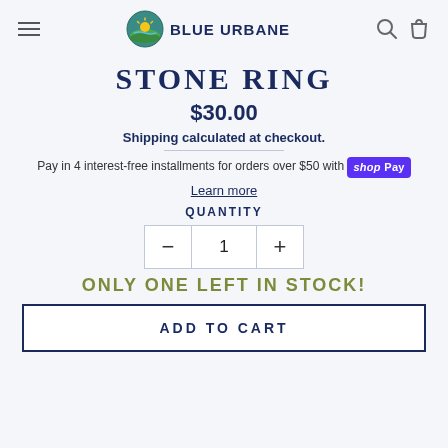Blue Urbane
STONE RING
$30.00
Shipping calculated at checkout.
Pay in 4 interest-free installments for orders over $50 with Shop Pay
Learn more
QUANTITY
1
ONLY ONE LEFT IN STOCK!
ADD TO CART